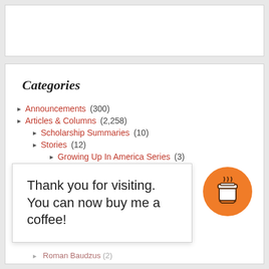[Figure (other): Empty white box at top of page (content area above categories)]
Categories
Announcements (300)
Articles & Columns (2,258)
Scholarship Summaries (10)
Stories (12)
Growing Up In America Series (3)
Western Stories (6)
Featured (5)
Guest Contributions (4,578)
Aleksandr Solzhenitsyn (1)
Thank you for visiting. You can now buy me a coffee!
Roman Baudzus (2)